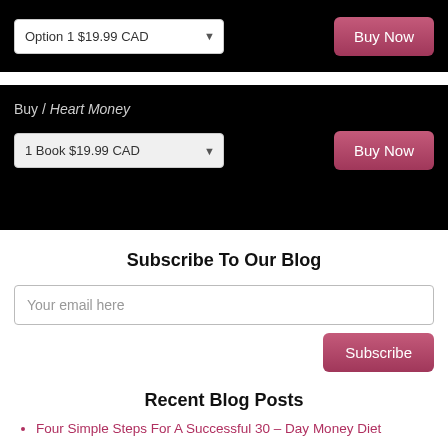Option 1 $19.99 CAD
Buy Now
Buy / Heart Money
1 Book $19.99 CAD
Buy Now
Subscribe To Our Blog
Your email here
Subscribe
Recent Blog Posts
Four Simple Steps For A Successful 30 – Day Money Diet